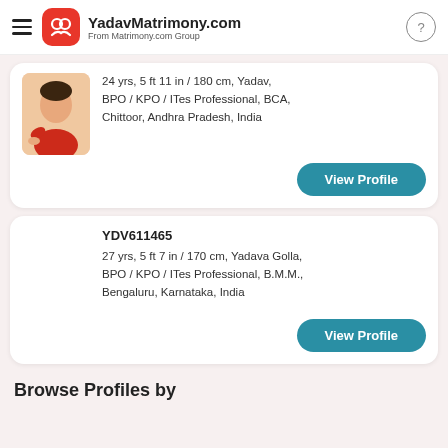YadavMatrimony.com From Matrimony.com Group
24 yrs, 5 ft 11 in / 180 cm, Yadav, BPO / KPO / ITes Professional, BCA, Chittoor, Andhra Pradesh, India
View Profile
YDV611465
27 yrs, 5 ft 7 in / 170 cm, Yadava Golla, BPO / KPO / ITes Professional, B.M.M., Bengaluru, Karnataka, India
View Profile
Browse Profiles by